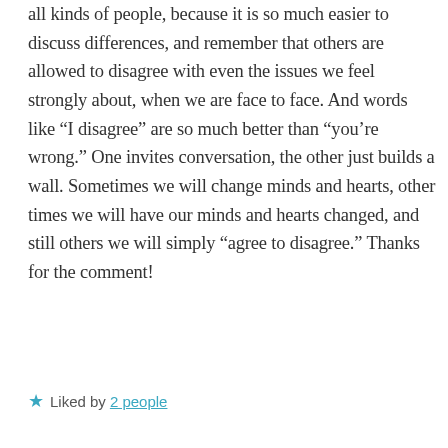all kinds of people, because it is so much easier to discuss differences, and remember that others are allowed to disagree with even the issues we feel strongly about, when we are face to face. And words like “I disagree” are so much better than “you’re wrong.” One invites conversation, the other just builds a wall. Sometimes we will change minds and hearts, other times we will have our minds and hearts changed, and still others we will simply “agree to disagree.” Thanks for the comment!
Liked by 2 people